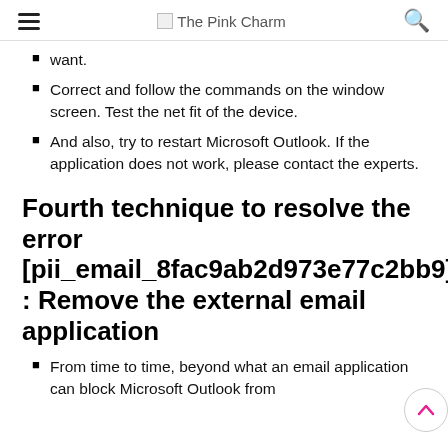The Pink Charm
want.
Correct and follow the commands on the window screen. Test the net fit of the device.
And also, try to restart Microsoft Outlook. If the application does not work, please contact the experts.
Fourth technique to resolve the error [pii_email_8fac9ab2d973e77c2bb9] : Remove the external email application
From time to time, beyond what an email application can block Microsoft Outlook from